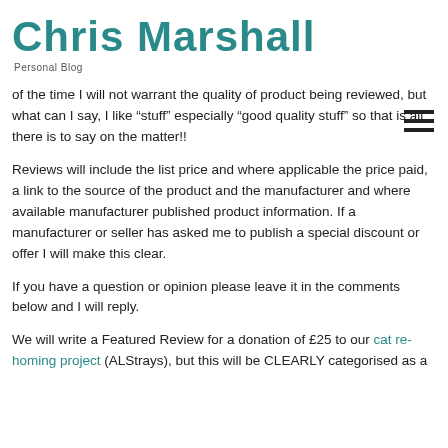Chris Marshall
Personal Blog
[Figure (other): Hamburger menu icon (three horizontal lines)]
of the time I will not warrant the quality of product being reviewed, but what can I say, I like “stuff” especially “good quality stuff” so that is all there is to say on the matter!!
Reviews will include the list price and where applicable the price paid, a link to the source of the product and the manufacturer and where available manufacturer published product information. If a manufacturer or seller has asked me to publish a special discount or offer I will make this clear.
If you have a question or opinion please leave it in the comments below and I will reply.
We will write a Featured Review for a donation of £25 to our cat re-homing project (ALStrays), but this will be CLEARLY categorised as a